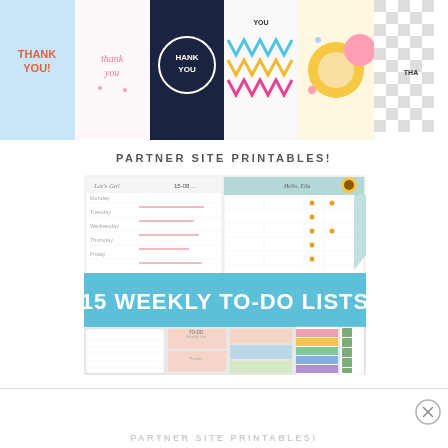[Figure (illustration): Row of colorful thank you card designs: blue with 'THANK YOU!', pink script 'thank you', dark navy 'HANK YOU', colorful chevron pattern, abstract sun/circle, black gingham pattern]
PARTNER SITE PRINTABLES!
[Figure (illustration): Composite image showing planner pages with weekly layouts and sunflower decoration on top half, and blue banner reading '15 WEEKLY TO-DO LISTS' overlaid, with colorful to-do list printables visible on bottom half]
PARTNER SITE PRINTABLES!